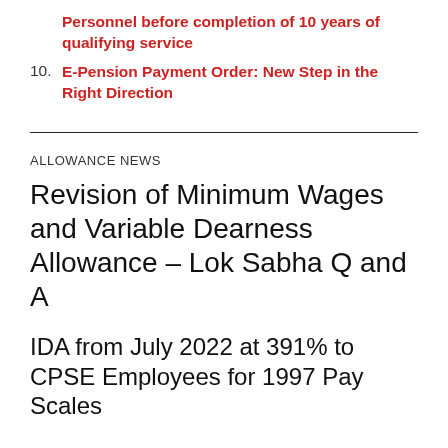Personnel before completion of 10 years of qualifying service
10. E-Pension Payment Order: New Step in the Right Direction
ALLOWANCE NEWS
Revision of Minimum Wages and Variable Dearness Allowance – Lok Sabha Q and A
IDA from July 2022 at 391% to CPSE Employees for 1997 Pay Scales